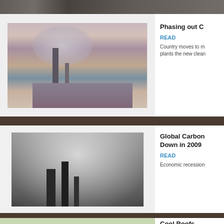[Figure (photo): Industrial power plant or factory with tall smokestacks emitting large plumes of white smoke against a twilight sky, color photo]
Phasing out C
READ
Country moves to m plants the new clean
[Figure (photo): Black and white photograph of industrial smokestacks emitting dense smoke clouds]
Global Carbon Down in 2009
READ
Economic recession
[Figure (photo): Partial view of a building with green trees, color photo — Cool Roofs article]
Cool Roofs